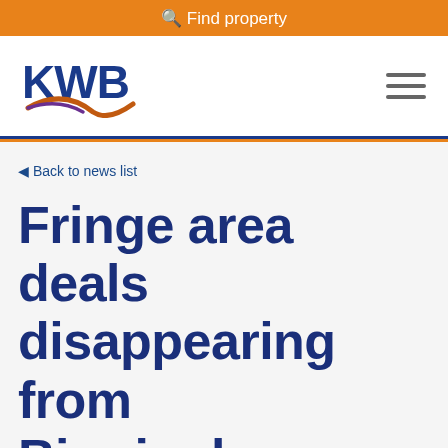Find property
[Figure (logo): KWB company logo with blue text and orange/purple swoosh]
Back to news list
Fringe area deals disappearing from Birmingham office market